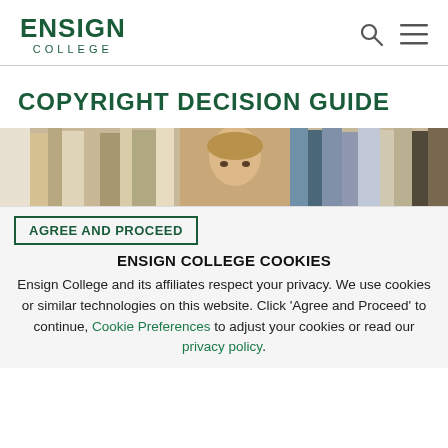ENSIGN COLLEGE
COPYRIGHT DECISION GUIDE
[Figure (photo): A photograph showing a person in front of bookshelves in a library]
AGREE AND PROCEED
ENSIGN COLLEGE COOKIES
Ensign College and its affiliates respect your privacy. We use cookies or similar technologies on this website. Click 'Agree and Proceed' to continue, Cookie Preferences to adjust your cookies or read our privacy policy.